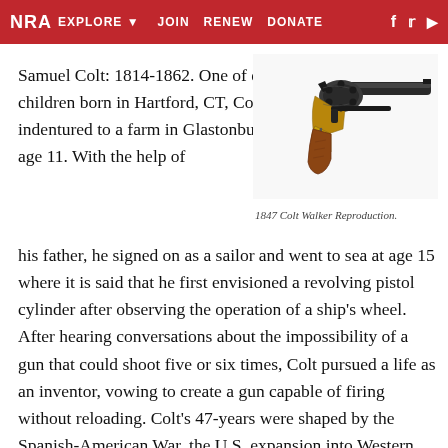NRA EXPLORE ▼  JOIN  RENEW  DONATE  f  𝕿  ▶
[Figure (photo): 1847 Colt Walker Reproduction revolver, showing a black metal barrel and cylinder with a brown wooden grip and brass trigger guard, photographed on a white background.]
1847 Colt Walker Reproduction.
Samuel Colt: 1814-1862. One of eight children born in Hartford, CT, Colt was indentured to a farm in Glastonbury at age 11. With the help of his father, he signed on as a sailor and went to sea at age 15 where it is said that he first envisioned a revolving pistol cylinder after observing the operation of a ship's wheel. After hearing conversations about the impossibility of a gun that could shoot five or six times, Colt pursued a life as an inventor, vowing to create a gun capable of firing without reloading. Colt's 47-years were shaped by the Spanish-American War, the U.S. expansion into Western